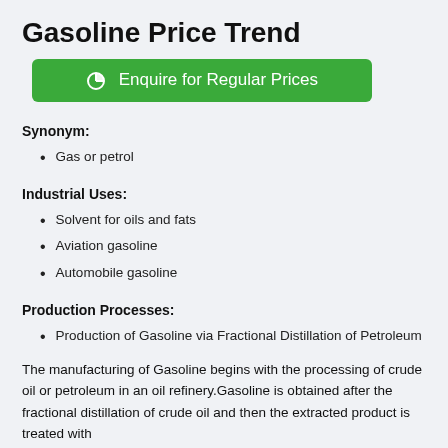Gasoline Price Trend
[Figure (other): Green button with pie chart icon labeled 'Enquire for Regular Prices']
Synonym:
Gas or petrol
Industrial Uses:
Solvent for oils and fats
Aviation gasoline
Automobile gasoline
Production Processes:
Production of Gasoline via Fractional Distillation of Petroleum
The manufacturing of Gasoline begins with the processing of crude oil or petroleum in an oil refinery.Gasoline is obtained after the fractional distillation of crude oil and then the extracted product is treated with...